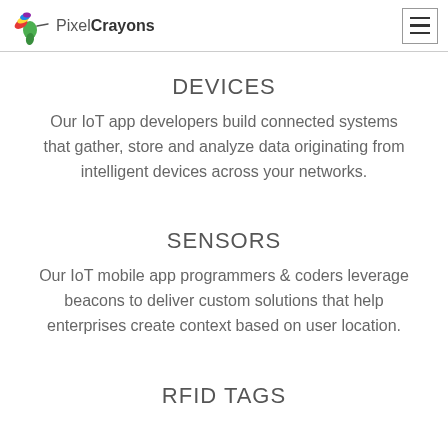PixelCrayons
DEVICES
Our IoT app developers build connected systems that gather, store and analyze data originating from intelligent devices across your networks.
SENSORS
Our IoT mobile app programmers & coders leverage beacons to deliver custom solutions that help enterprises create context based on user location.
RFID TAGS